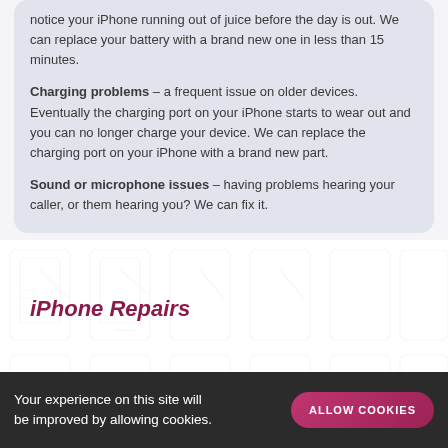notice your iPhone running out of juice before the day is out. We can replace your battery with a brand new one in less than 15 minutes.
Charging problems – a frequent issue on older devices. Eventually the charging port on your iPhone starts to wear out and you can no longer charge your device. We can replace the charging port on your iPhone with a brand new part.
Sound or microphone issues – having problems hearing your caller, or them hearing you? We can fix it.
iPhone Repairs
iPad Repairs
Samsung Repairs
Your experience on this site will be improved by allowing cookies.